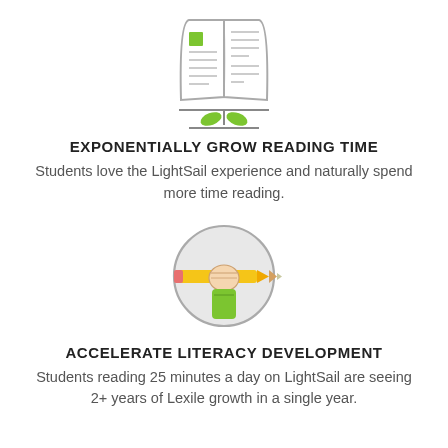[Figure (illustration): Icon of an open book with a plant growing from its spine, featuring green leaves and a stem on a horizontal line]
EXPONENTIALLY GROW READING TIME
Students love the LightSail experience and naturally spend more time reading.
[Figure (illustration): Icon of a hand holding a pencil inside a light grey circle, with a green sleeve on the wrist]
ACCELERATE LITERACY DEVELOPMENT
Students reading 25 minutes a day on LightSail are seeing 2+ years of Lexile growth in a single year.